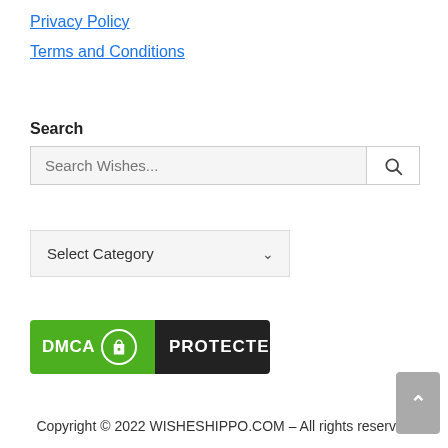Privacy Policy
Terms and Conditions
Search
Search Wishes...
Select Category
[Figure (logo): DMCA Protected badge with green left panel showing 'DMCA' and lock icon, and black right panel showing 'PROTECTED']
Copyright © 2022 WISHESHIPPO.COM – All rights reserved